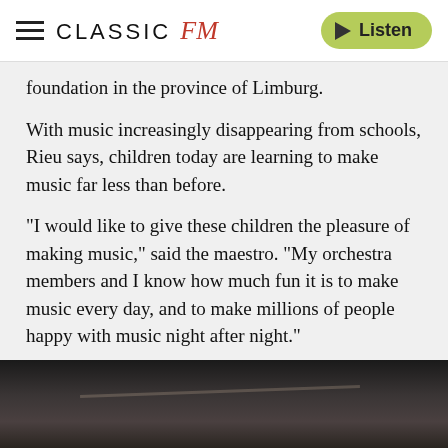CLASSIC fM   Listen
foundation in the province of Limburg.
With music increasingly disappearing from schools, Rieu says, children today are learning to make music far less than before.
“I would like to give these children the pleasure of making music,” said the maestro. “My orchestra members and I know how much fun it is to make music every day, and to make millions of people happy with music night after night.”
Read more: André Rieu’s concerts, wife, net worth and more facts >
[Figure (photo): Dark photograph, partially visible at the bottom of the page, appears to show a music-related scene with dark tones.]